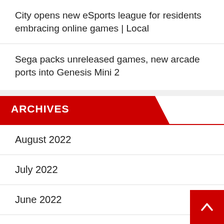City opens new eSports league for residents embracing online games | Local
Sega packs unreleased games, new arcade ports into Genesis Mini 2
ARCHIVES
August 2022
July 2022
June 2022
May 2022